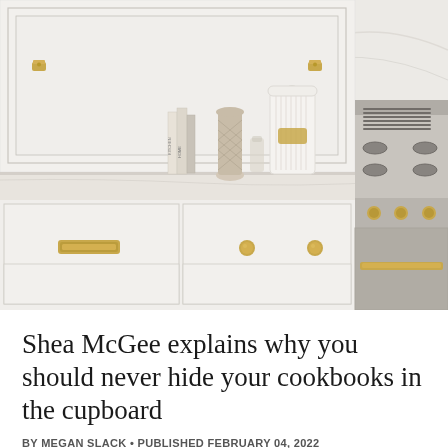[Figure (photo): A bright white kitchen with shaker-style cabinet doors with gold/brass hardware, white marble countertop with books, a decorative lattice vase, a white ribbed canister with handle, and a stainless steel gas range with brass knobs and accents visible on the right side. Marble backsplash in the background.]
Shea McGee explains why you should never hide your cookbooks in the cupboard
BY MEGAN SLACK • PUBLISHED FEBRUARY 04, 2022
[Figure (photo): Bottom portion of a second kitchen photo showing a white marble countertop with a dark green object visible at the top center.]